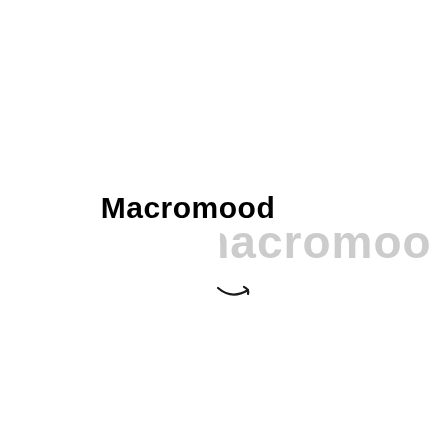[Figure (logo): Macromood brand logo with bold black text 'Macromood' and a light gray watermark text 'macromoo' partially visible to the right, with a small Amazon-style smile arrow beneath]